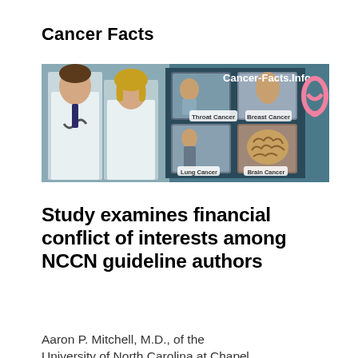Cancer Facts
[Figure (illustration): Cancer-Facts.Info website banner showing two doctors (male and female) in white coats on the left, and medical images of Throat Cancer, Lung Cancer, Breast Cancer, and Brain Cancer in the center, with a pink breast cancer ribbon on the right, on a teal/dark background.]
Study examines financial conflict of interests among NCCN guideline authors
Aaron P. Mitchell, M.D., of the University of North Carolina at Chapel